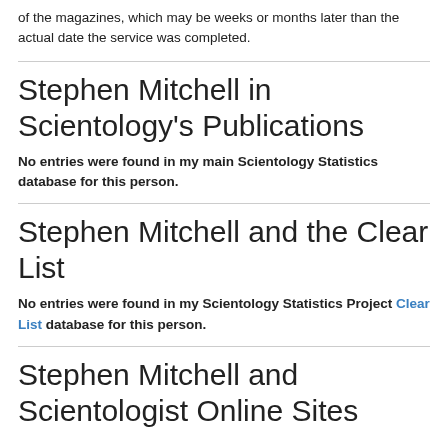of the magazines, which may be weeks or months later than the actual date the service was completed.
Stephen Mitchell in Scientology's Publications
No entries were found in my main Scientology Statistics database for this person.
Stephen Mitchell and the Clear List
No entries were found in my Scientology Statistics Project Clear List database for this person.
Stephen Mitchell and Scientologist Online Sites